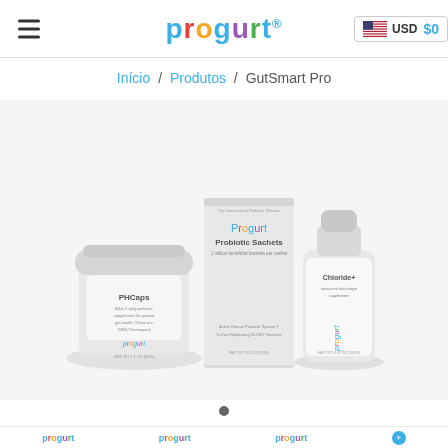Progurt — USD $0
Início / Produtos / GutSmart Pro
[Figure (photo): Three Progurt products side by side: a white jar labeled PHCaps, a white box labeled Progurt Probiotic Sachets, and a white bottle labeled Chloride+. All products are against a light grey background.]